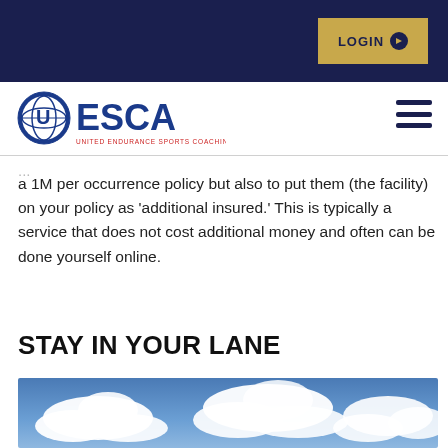LOGIN
[Figure (logo): UESCA logo — United Endurance Sports Coaching Academy, blue circular icon with U and globe, red and blue text]
a 1M per occurrence policy but also to put them (the facility) on your policy as 'additional insured.' This is typically a service that does not cost additional money and often can be done yourself online.
STAY IN YOUR LANE
[Figure (photo): Blue sky with white clouds]